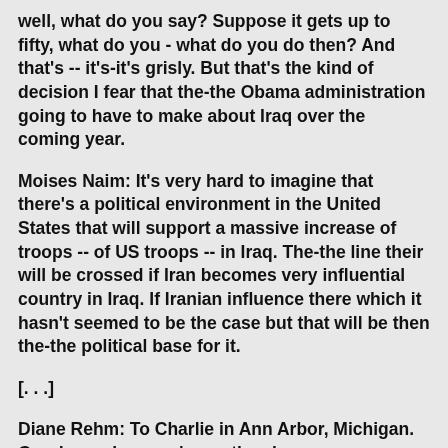well, what do you say? Suppose it gets up to fifty, what do you - what do you do then? And that's -- it's-it's grisly. But that's the kind of decision I fear that the-the Obama administration going to have to make about Iraq over the coming year.
Moises Naim: It's very hard to imagine that there's a political environment in the United States that will support a massive increase of troops -- of US troops -- in Iraq. The-the line their will be crossed if Iran becomes very influential country in Iraq. If Iranian influence there which it hasn't seemed to be the case but that will be then the-the political base for it.
[. . .]
Diane Rehm: To Charlie in Ann Arbor, Michigan. Good morning, you're on the air.
Charlie: Good morning. I'd like to go back to the MidEast a little bit in terms of I think that Iraq is a lost cause. I think Sadr, Ayatollah Sadr's militia has only stood down